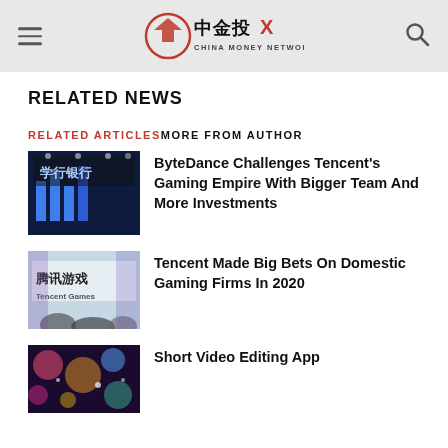China Money Network
RELATED NEWS
RELATED ARTICLES MORE FROM AUTHOR
[Figure (photo): ByteDance gaming expo sign with blue neon lights]
ByteDance Challenges Tencent's Gaming Empire With Bigger Team And More Investments
[Figure (photo): Tencent Games sign with people in foreground]
Tencent Made Big Bets On Domestic Gaming Firms In 2020
[Figure (photo): Colorful background image for Short Video Editing App article]
Short Video Editing App